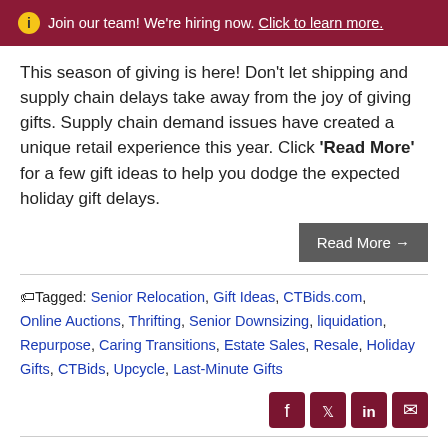ⓘ Join our team! We're hiring now. Click to learn more.
This season of giving is here! Don't let shipping and supply chain delays take away from the joy of giving gifts. Supply chain demand issues have created a unique retail experience this year. Click 'Read More' for a few gift ideas to help you dodge the expected holiday gift delays.
Read More →
Tagged: Senior Relocation, Gift Ideas, CTBids.com, Online Auctions, Thrifting, Senior Downsizing, liquidation, Repurpose, Caring Transitions, Estate Sales, Resale, Holiday Gifts, CTBids, Upcycle, Last-Minute Gifts
[Figure (infographic): Social media share icons: Facebook, Twitter, LinkedIn, Email in dark red rounded squares]
Last Minute Gift Ideas
Posted by Albert Dickson on December 11, 2019 at 9:00